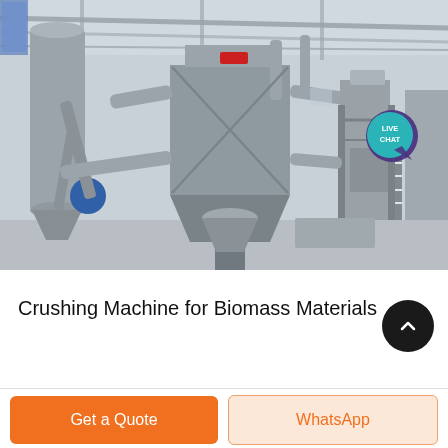[Figure (photo): Industrial factory interior showing large biomass crushing/grinding machinery, dust collectors, silos, pipes and conveyors in a steel-roofed warehouse. A teal 'LIVE CHAT' badge with speech-bubble icon is overlaid in the upper-right area of the photo.]
Crushing Machine for Biomass Materials
Get a Quote
WhatsApp